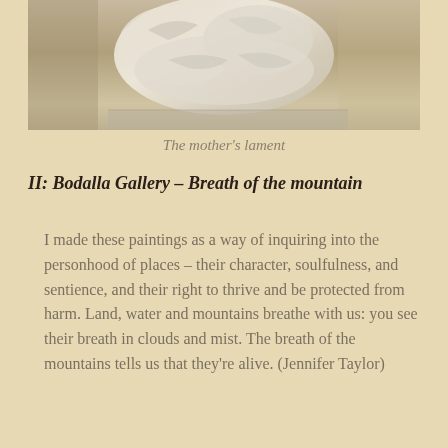[Figure (photo): A sculptural artwork resembling crumpled or folded white/cream material, possibly ceramic or plaster, photographed against a light gray background.]
The mother's lament
II: Bodalla Gallery – Breath of the mountain
I made these paintings as a way of inquiring into the personhood of places – their character, soulfulness, and sentience, and their right to thrive and be protected from harm. Land, water and mountains breathe with us: you see their breath in clouds and mist. The breath of the mountains tells us that they're alive. (Jennifer Taylor)